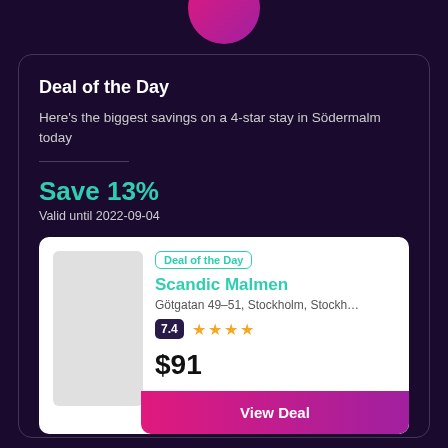[Figure (illustration): Pink/magenta circular logo or icon at the top center of the page, partially cropped]
Deal of the Day
Here's the biggest savings on a 4-star stay in Södermalm today
Save 13%
Valid until 2022-09-04
Deal of the Day
Scandic Malmen
Götgatan 49–51, Stockholm, Stockh…
7.4
$91
View Deal